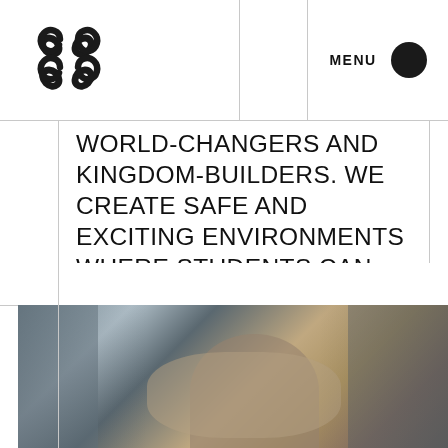[Figure (logo): Circular chain link / interlocked loops logo mark in dark color]
MENU
WORLD-CHANGERS AND KINGDOM-BUILDERS. WE CREATE SAFE AND EXCITING ENVIRONMENTS WHERE STUDENTS CAN GROW AND EXPERIENCE THE LOVE OF GOD.
← BACK
[Figure (photo): Photograph showing people sitting together, hands visible, appearing to be in a group or prayer setting with a warm, candid atmosphere]